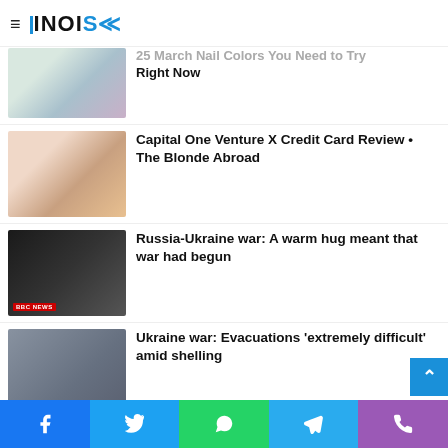≡ NOISE
25 March Nail Colors You Need to Try Right Now
Capital One Venture X Credit Card Review • The Blonde Abroad
Russia-Ukraine war: A warm hug meant that war had begun
Ukraine war: Evacuations 'extremely difficult' amid shelling
Facebook Twitter WhatsApp Telegram Phone